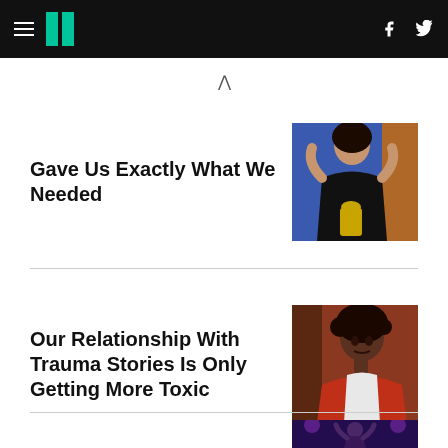HuffPost navigation header with hamburger menu, logo, Facebook and Twitter icons
^
Gave Us Exactly What We Needed
[Figure (photo): Person in black leather dress holding a Grammy award, blue background]
Our Relationship With Trauma Stories Is Only Getting More Toxic
[Figure (photo): Young Black woman with curly hair wearing a red jacket, looking serious]
[Figure (photo): Performer on stage with hands raised, dark/purple background, partially visible]